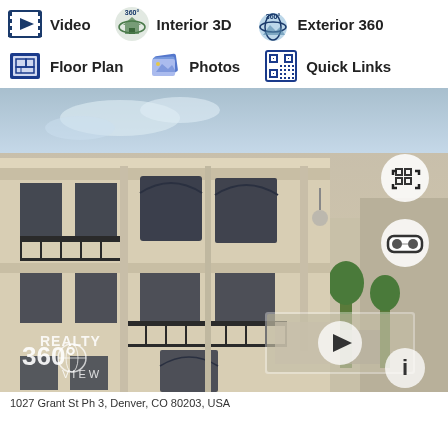[Figure (other): Navigation toolbar with icons for Video, Interior 3D, Exterior 360, Floor Plan, Photos, Quick Links]
[Figure (photo): Aerial/exterior view of a modern multi-story apartment or condo building with tan/beige facade, large windows, balconies, and a Realty 360 View watermark. UI overlay icons visible: fullscreen, VR headset, play button, info. A smaller preview thumbnail visible at bottom center.]
1027 Grant St Ph 3, Denver, CO 80203, USA